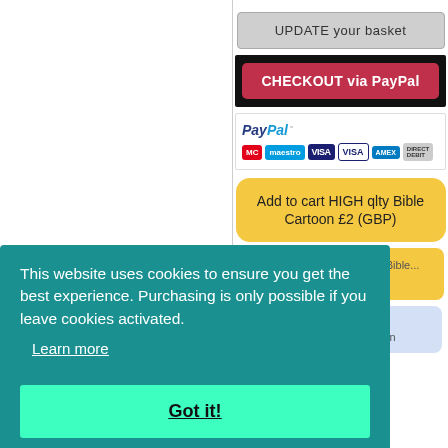[Figure (screenshot): UPDATE your basket button - grey rounded button]
[Figure (screenshot): CHECKOUT via PayPal button - red button on black background]
[Figure (screenshot): PayPal logo and payment card icons (Mastercard, Maestro, VISA, VISA electron, Amex, Direct Debit)]
[Figure (screenshot): Add to cart HIGH qlty Bible Cartoon £2 (GBP) - yellow rounded button]
[Figure (screenshot): Add to cart MEDIUM qlty Bible - partially visible yellow button]
[Figure (screenshot): Free Low qlty Bible Cartoon - light blue button]
Navigation
This website uses cookies to ensure you get the best experience. Purchasing is only possible if you leave cookies activated.
Learn more
Got it!